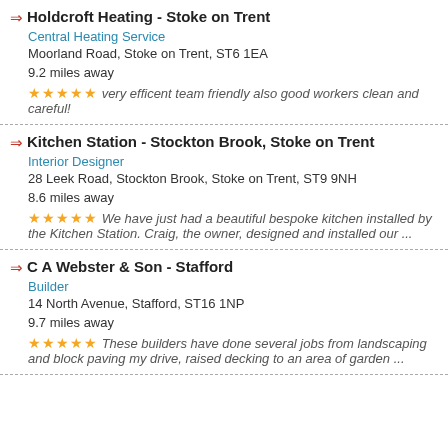Holdcroft Heating - Stoke on Trent
Central Heating Service
Moorland Road, Stoke on Trent, ST6 1EA
9.2 miles away
★★★★★ very efficent team friendly also good workers clean and careful!
Kitchen Station - Stockton Brook, Stoke on Trent
Interior Designer
28 Leek Road, Stockton Brook, Stoke on Trent, ST9 9NH
8.6 miles away
★★★★★ We have just had a beautiful bespoke kitchen installed by the Kitchen Station. Craig, the owner, designed and installed our ...
C A Webster & Son - Stafford
Builder
14 North Avenue, Stafford, ST16 1NP
9.7 miles away
★★★★★ These builders have done several jobs from landscaping and block paving my drive, raised decking to an area of garden ...